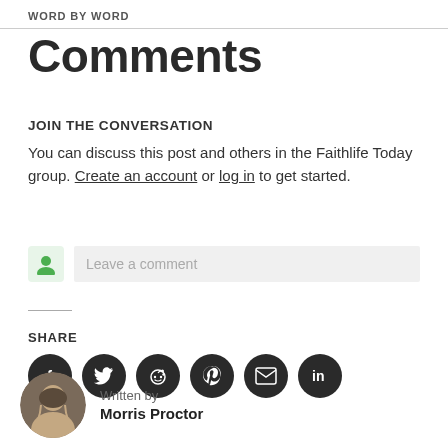WORD BY WORD
Comments
JOIN THE CONVERSATION
You can discuss this post and others in the Faithlife Today group. Create an account or log in to get started.
[Figure (other): Comment input box with green user icon and placeholder 'Leave a comment']
SHARE
[Figure (other): Six dark circular social share buttons: Facebook, Twitter, Reddit, Pinterest, Email, LinkedIn]
Written by
Morris Proctor